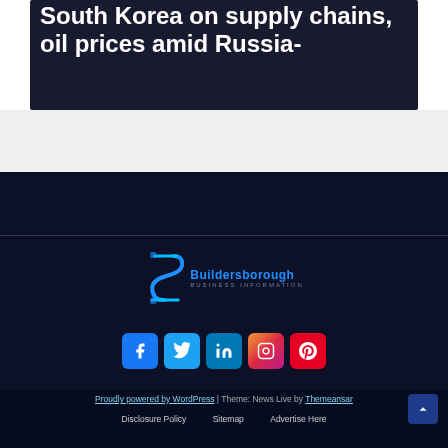[Figure (screenshot): Article card with dark background showing partial headline text about South Korea on supply chains, oil prices amid Russia-]
[Figure (logo): Buildersborough logo with stylized 'S' icon in blue and brand name text]
[Figure (infographic): Row of social media icon buttons: Facebook, Twitter, LinkedIn, Instagram, Pinterest]
Proudly powered by WordPress | Theme: News Live by Themeansar
Disclosure Policy   Sitemap   Advertise Here